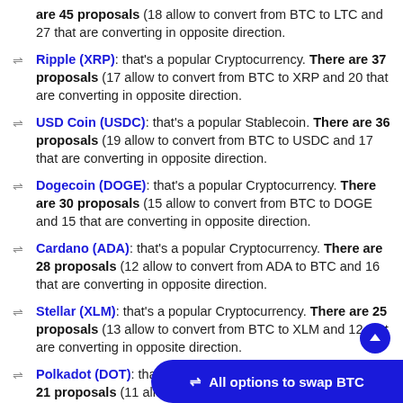are 45 proposals (18 allow to convert from BTC to LTC and 27 that are converting in opposite direction.
Ripple (XRP): that's a popular Cryptocurrency. There are 37 proposals (17 allow to convert from BTC to XRP and 20 that are converting in opposite direction.
USD Coin (USDC): that's a popular Stablecoin. There are 36 proposals (19 allow to convert from BTC to USDC and 17 that are converting in opposite direction.
Dogecoin (DOGE): that's a popular Cryptocurrency. There are 30 proposals (15 allow to convert from BTC to DOGE and 15 that are converting in opposite direction.
Cardano (ADA): that's a popular Cryptocurrency. There are 28 proposals (12 allow to convert from ADA to BTC and 16 that are converting in opposite direction.
Stellar (XLM): that's a popular Cryptocurrency. There are 25 proposals (13 allow to convert from BTC to XLM and 12 that are converting in opposite direction.
Polkadot (DOT): that's a popular Cryptocurrency. There are 21 proposals (11 allow to convert from BTC to DOT and 10 that are converting in opposite direction.
Bitcoin Cash (BCH): that's a popular Cryptocurrency. There are 20 proposals (11 allow to convert from BCH to BTC and 9 that are converting in opposite direction.
All options to swap BTC